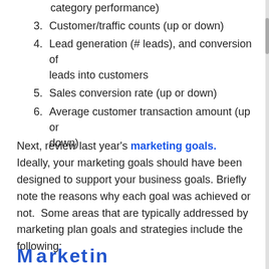category performance)
3. Customer/traffic counts (up or down)
4. Lead generation (# leads), and conversion of leads into customers
5. Sales conversion rate (up or down)
6. Average customer transaction amount (up or down)
Next, review last year's marketing goals. Ideally, your marketing goals should have been designed to support your business goals. Briefly note the reasons why each goal was achieved or not. Some areas that are typically addressed by marketing plan goals and strategies include the following:
M...